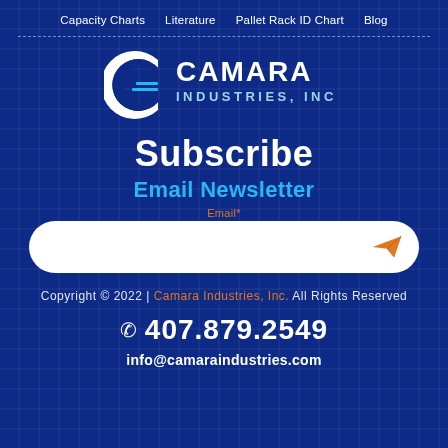Capacity Charts   Literature   Pallet Rack ID Chart   Blog
[Figure (logo): Camara Industries, Inc. logo — stylized C with nested lines and wordmark CAMARA INDUSTRIES, INC in white and light blue]
Subscribe
Email Newsletter
Email*
Copyright © 2022 | Camara Industries, Inc. All Rights Reserved
407.879.2549
info@camaraindustries.com